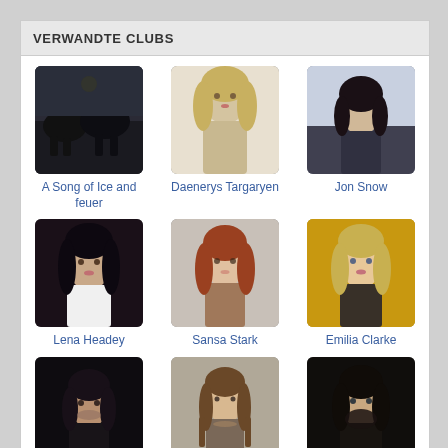VERWANDTE CLUBS
[Figure (photo): A Song of Ice and feuer club thumbnail - dark ravens/horses image]
A Song of Ice and feuer
[Figure (photo): Daenerys Targaryen club thumbnail - blonde woman portrait]
Daenerys Targaryen
[Figure (photo): Jon Snow club thumbnail - dark haired woman in wintery setting]
Jon Snow
[Figure (photo): Lena Headey club thumbnail - dark haired woman portrait]
Lena Headey
[Figure (photo): Sansa Stark club thumbnail - young red haired woman]
Sansa Stark
[Figure (photo): Emilia Clarke club thumbnail - blonde woman with yellow background]
Emilia Clarke
[Figure (photo): Tyrion Lannister club thumbnail - older man portrait dark]
Tyrion Lannister
[Figure (photo): Arya Stark club thumbnail - young girl with braids]
Arya Stark
[Figure (photo): Robb Stark club thumbnail - dark bearded man]
Robb Stark
Mehr Clubs >>